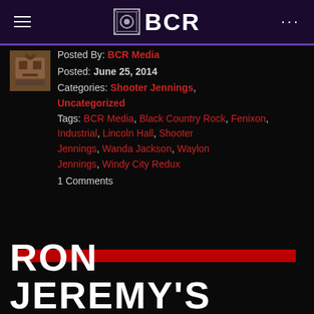BCR
Posted By: BCR Media
Posted: June 25, 2014
Categories: Shooter Jennings, Uncategorized
Tags: BCR Media, Black Country Rock, Fenixon, Industrial, Lincoln Hall, Shooter Jennings, Wanda Jackson, Waylon Jennings, Windy City Redux
1 Comments
RON JEREMY'S